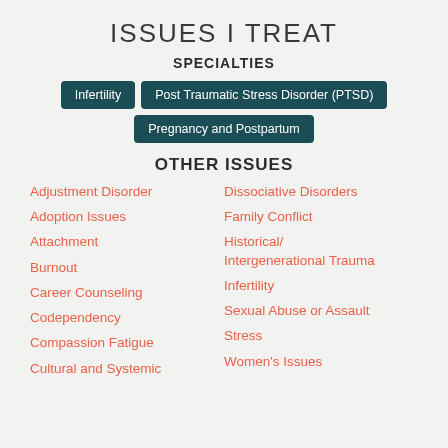ISSUES I TREAT
SPECIALTIES
Infertility
Post Traumatic Stress Disorder (PTSD)
Pregnancy and Postpartum
OTHER ISSUES
Adjustment Disorder
Adoption Issues
Attachment
Burnout
Career Counseling
Codependency
Compassion Fatigue
Cultural and Systemic
Dissociative Disorders
Family Conflict
Historical/ Intergenerational Trauma
Infertility
Sexual Abuse or Assault
Stress
Women's Issues